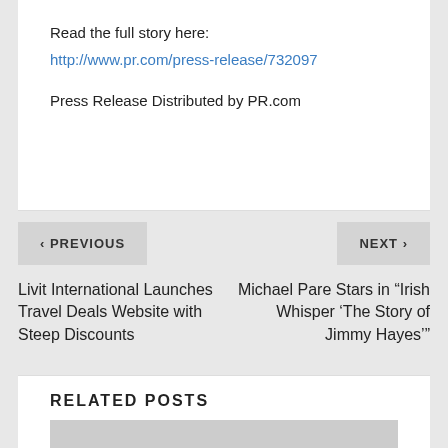Read the full story here:
http://www.pr.com/press-release/732097
Press Release Distributed by PR.com
< PREVIOUS
NEXT >
Livit International Launches Travel Deals Website with Steep Discounts
Michael Pare Stars in "Irish Whisper 'The Story of Jimmy Hayes'"
RELATED POSTS